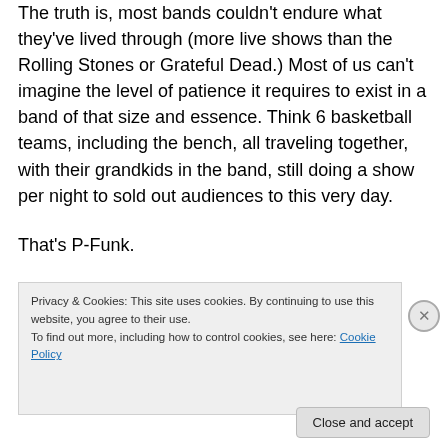The truth is, most bands couldn't endure what they've lived through (more live shows than the Rolling Stones or Grateful Dead.) Most of us can't imagine the level of patience it requires to exist in a band of that size and essence. Think 6 basketball teams, including the bench, all traveling together, with their grandkids in the band, still doing a show per night to sold out audiences to this very day.
That's P-Funk.
[Figure (photo): A dark image with a reddish-brown horizontal band or object visible against a black background]
Privacy & Cookies: This site uses cookies. By continuing to use this website, you agree to their use. To find out more, including how to control cookies, see here: Cookie Policy